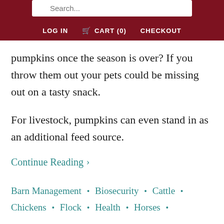LOG IN  CART (0)  CHECKOUT
pumpkins once the season is over? If you throw them out your pets could be missing out on a tasty snack.
For livestock, pumpkins can even stand in as an additional feed source.
Continue Reading ›
Barn Management · Biosecurity · Cattle · Chickens · Flock · Health · Horses ·